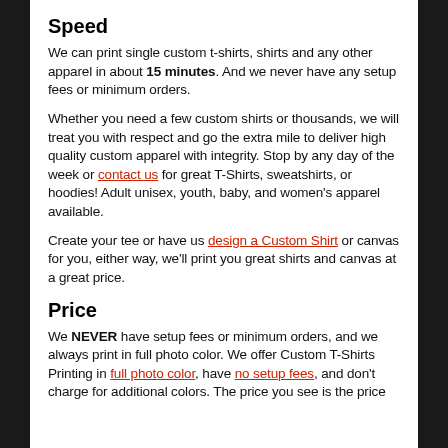Speed
We can print single custom t-shirts, shirts and any other apparel in about 15 minutes. And we never have any setup fees or minimum orders.
Whether you need a few custom shirts or thousands, we will treat you with respect and go the extra mile to deliver high quality custom apparel with integrity. Stop by any day of the week or contact us for great T-Shirts, sweatshirts, or hoodies! Adult unisex, youth, baby, and women's apparel available.
Create your tee or have us design a Custom Shirt or canvas for you, either way, we'll print you great shirts and canvas at a great price.
Price
We NEVER have setup fees or minimum orders, and we always print in full photo color. We offer Custom T-Shirts Printing in full photo color, have no setup fees, and don't charge for additional colors. The price you see is the price